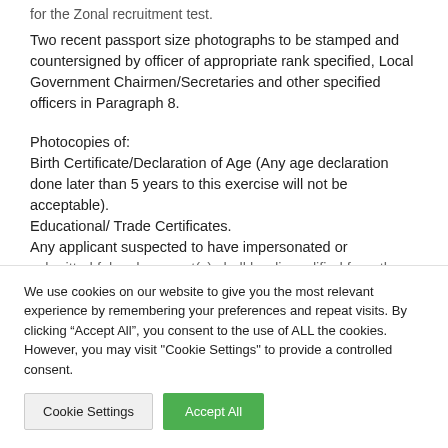for the Zonal recruitment test. Two recent passport size photographs to be stamped and countersigned by officer of appropriate rank specified, Local Government Chairmen/Secretaries and other specified officers in Paragraph 8.
Photocopies of: Birth Certificate/Declaration of Age (Any age declaration done later than 5 years to this exercise will not be acceptable). Educational/ Trade Certificates. Any applicant suspected to have impersonated or submitted false document(s) shall be disqualified from the
We use cookies on our website to give you the most relevant experience by remembering your preferences and repeat visits. By clicking "Accept All", you consent to the use of ALL the cookies. However, you may visit "Cookie Settings" to provide a controlled consent.
Cookie Settings
Accept All